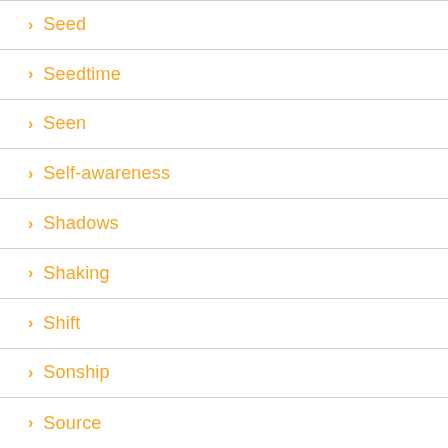> Seed
> Seedtime
> Seen
> Self-awareness
> Shadows
> Shaking
> Shift
> Sonship
> Source